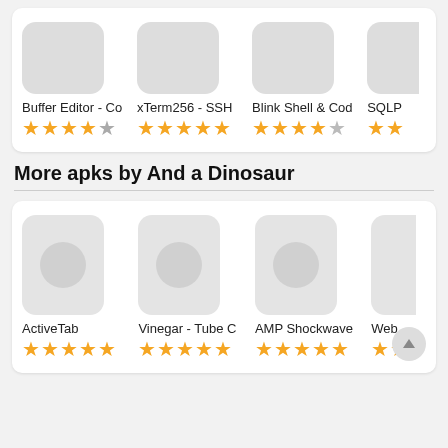[Figure (screenshot): Top scrollable card with 4 app listings: Buffer Editor - C (3.5 stars), xTerm256 - SSH (5 stars), Blink Shell & Cod (4.5 stars), SQLP (partially visible, 2+ stars shown)]
More apks by And a Dinosaur
[Figure (screenshot): Bottom card with 4 app listings: ActiveTab (5 stars), Vinegar - Tube C (5 stars), AMP Shockwave (5 stars), Web (partially visible, 2+ stars shown). Each app has a rounded square icon placeholder with a circle inside.]